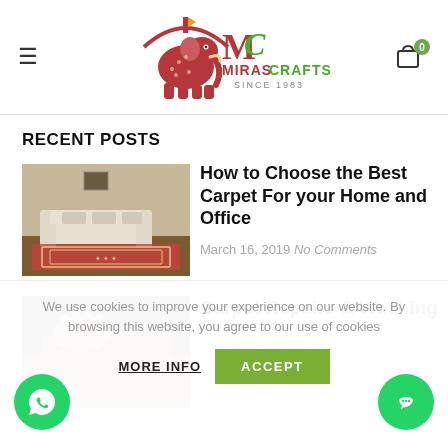Miras Crafts - Since 1983
RECENT POSTS
[Figure (photo): Interior room with white sofa and red carpet]
How to Choose the Best Carpet For your Home and Office
March 16, 2019 No Comments
[Figure (photo): Hands working on carpet repairs]
Carpet Repairs & Washing
June 22, 2017 No Comments
We use cookies to improve your experience on our website. By browsing this website, you agree to our use of cookies.
MORE INFO   ACCEPT